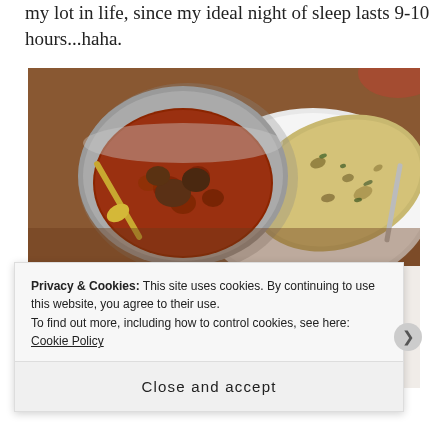my lot in life, since my ideal night of sleep lasts 9-10 hours...haha.
[Figure (photo): Top: A metal bowl of curry dish with a spoon, alongside naan bread on a white plate, on a wooden table. Bottom left: Interior of a restaurant with chairs and a framed sign reading 'Thinking of a Gu[nea...]'. Bottom right: A purple rounded object (bottle/container).]
Privacy & Cookies: This site uses cookies. By continuing to use this website, you agree to their use.
To find out more, including how to control cookies, see here: Cookie Policy
Close and accept